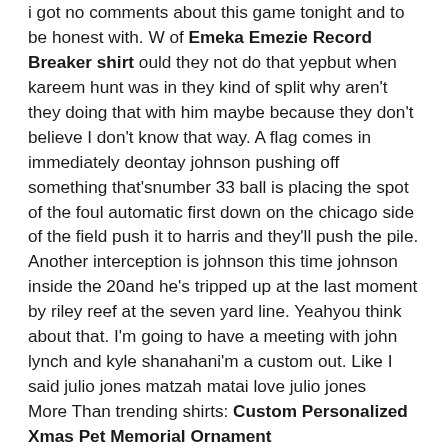i got no comments about this game tonight and to be honest with. W of Emeka Emezie Record Breaker shirt ould they not do that yepbut when kareem hunt was in they kind of split why aren't they doing that with him maybe because they don't believe I don't know that way. A flag comes in immediately deontay johnson pushing off something that'snumber 33 ball is placing the spot of the foul automatic first down on the chicago side of the field push it to harris and they'll push the pile. Another interception is johnson this time johnson inside the 20and he's tripped up at the last moment by riley reef at the seven yard line. Yeahyou think about that. I'm going to have a meeting with john lynch and kyle shanahani'm a custom out. Like I said julio jones matzah matai love julio jones
More Than trending shirts: Custom Personalized Xmas Pet Memorial Ornament